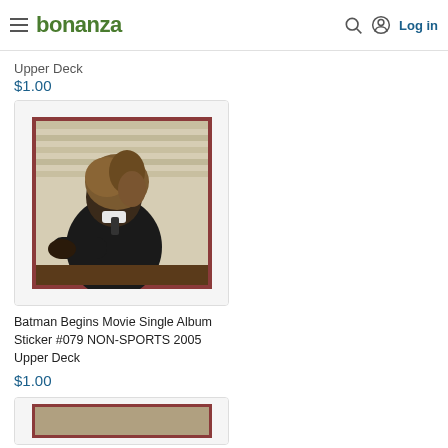bonanza  Log in
Upper Deck
$1.00
[Figure (photo): Product listing image for Batman Begins Movie Single Album Sticker #079. Shows a figure in a dark suit with hair obscuring the face, photographed from the side, on a trading card with a dark red border.]
Batman Begins Movie Single Album Sticker #079 NON-SPORTS 2005 Upper Deck
$1.00
[Figure (photo): Partial view of another product card at the bottom of the page, showing a dark-bordered trading card.]